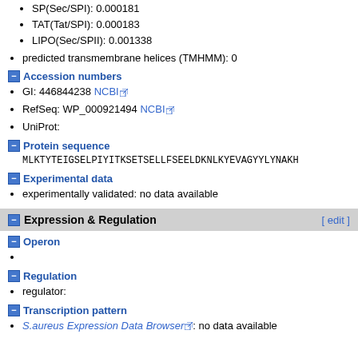SP(Sec/SPI): 0.000181
TAT(Tat/SPI): 0.000183
LIPO(Sec/SPII): 0.001338
predicted transmembrane helices (TMHMM): 0
Accession numbers
GI: 446844238 NCBI
RefSeq: WP_000921494 NCBI
UniProt:
Protein sequence
MLKTYTEIGSELPIYITKSETSELLFSEELDKNLKYEVAGYYLYNAKH
Experimental data
experimentally validated: no data available
Expression & Regulation
Operon
Regulation
regulator:
Transcription pattern
S.aureus Expression Data Browser: no data available